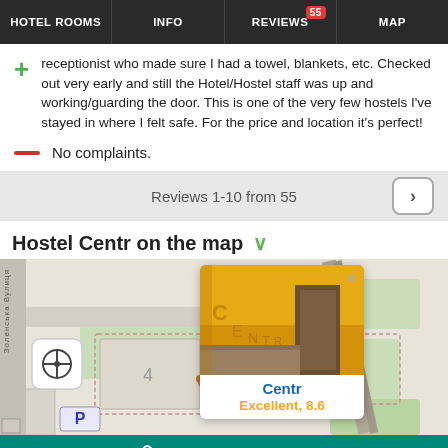HOTEL ROOMS | INFO | REVIEWS 55 | MAP
receptionist who made sure I had a towel, blankets, etc. Checked out very early and still the Hotel/Hostel staff was up and working/guarding the door. This is one of the very few hostels I've stayed in where I felt safe. For the price and location it's perfect!
No complaints.
Reviews 1-10 from 55
Hostel Centr on the map
[Figure (map): Map showing Hostel Centr location with a popup card showing photo of the hostel interior (yellow wall with 'CENTR' text), name 'Centr', and rating 'Excellent, 8.6']
067 510-15-04